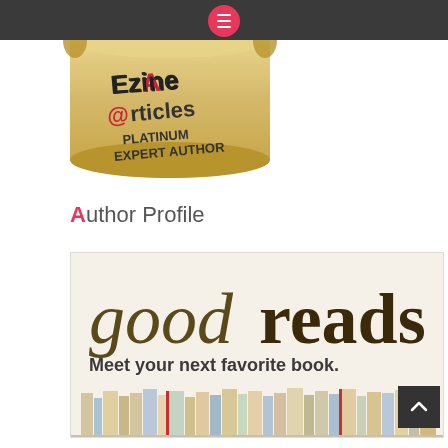Navigation menu bar with hamburger icon
[Figure (logo): EzineArticles Platinum Expert Author badge/logo on a scroll-shaped parchment background]
Author Profile
[Figure (screenshot): Goodreads banner image with text 'goodreads' in large dark olive serif font and 'Meet your next favorite book.' below it, with a row of books at the bottom on a cream background]